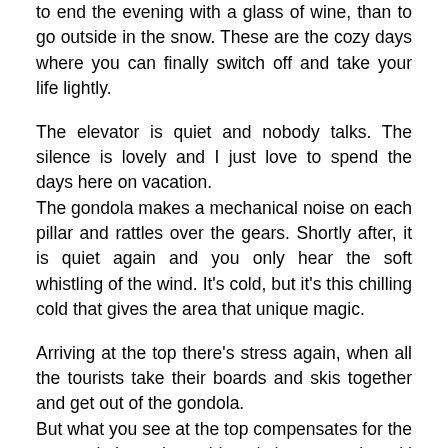to end the evening with a glass of wine, than to go outside in the snow. These are the cozy days where you can finally switch off and take your life lightly.
The elevator is quiet and nobody talks. The silence is lovely and I just love to spend the days here on vacation.
The gondola makes a mechanical noise on each pillar and rattles over the gears. Shortly after, it is quiet again and you only hear the soft whistling of the wind. It's cold, but it's this chilling cold that gives the area that unique magic.
Arriving at the top there's stress again, when all the tourists take their boards and skis together and get out of the gondola.
But what you see at the top compensates for the warm clothes, the cold and the expensive ski pass.
The mountain seems to be glittering and when the sun shines on the slopes at this pretty angle, it's as if there